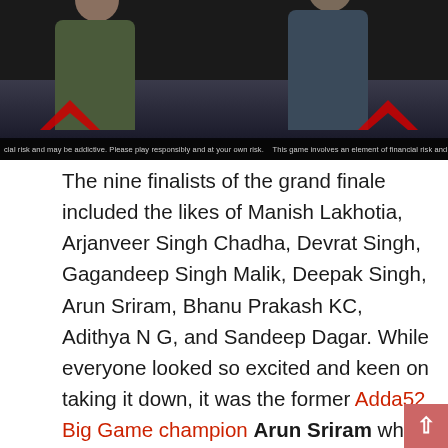[Figure (screenshot): Screenshot of a poker/gaming event stage with two people standing on a dark stage with red chevron logos and a disclaimer ticker at the bottom reading about financial risk and addictive gameplay.]
The nine finalists of the grand finale included the likes of Manish Lakhotia, Arjanveer Singh Chadha, Devrat Singh, Gagandeep Singh Malik, Deepak Singh, Arun Sriram, Bhanu Prakash KC, Adithya N G, and Sandeep Dagar. While everyone looked so excited and keen on taking it down, it was the former Adda52 Big Game champion Arun Sriram who etched his name in the history books by winning the first-ever ACL POY title. In addition to the bragging rights of winning the POY title, the 38-year-old poker pro from Bangalore earned a massive INR 20 Lac and Adda52 Pro Contract! It was